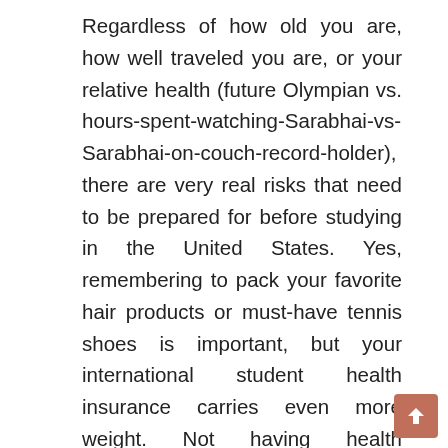Regardless of how old you are, how well traveled you are, or your relative health (future Olympian vs. hours-spent-watching-Sarabhai-vs-Sarabhai-on-couch-record-holder), there are very real risks that need to be prepared for before studying in the United States. Yes, remembering to pack your favorite hair products or must-have tennis shoes is important, but your international student health insurance carries even more weight. Not having health insurance coverage in the United States—a country particularly notorious for expensive cost of health insurance (aka बीमारी)—can have lifelong consequences for both your health AND your bank account. You will be treated in an emergency situation regardless of your health insurance coverage in the United States. However, in the instance where you are uninsured, you will have to pay out of pocket for all medical costs incurred. And trust us when we say… you better hope your pockets are DEEP. Even something as little as a two-mile ambulance ride can rack up $2700 in